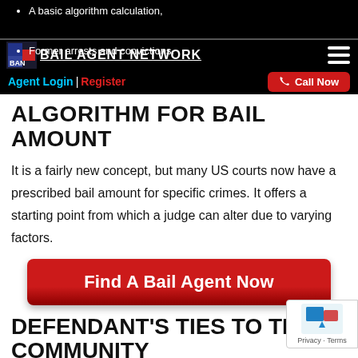A basic algorithm calculation,
BAIL AGENT NETWORK
A part of the community,
Former arrests and convictions.
ALGORITHM FOR BAIL AMOUNT
It is a fairly new concept, but many US courts now have a prescribed bail amount for specific crimes. It offers a starting point from which a judge can alter due to varying factors.
[Figure (other): Red CTA button labeled 'Find A Bail Agent Now']
DEFENDANT'S TIES TO THE COMMUNITY
The judge will want to learn whether the defendant has